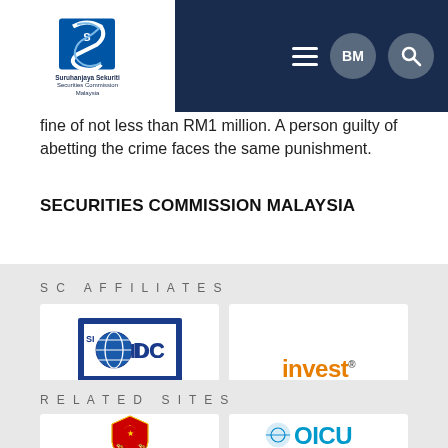[Figure (logo): Securities Commission Malaysia (Suruhanjaya Sekuriti) logo with navigation header on dark blue background, BM button, search button, hamburger menu]
fine of not less than RM1 million. A person guilty of abetting the crime faces the same punishment.
SECURITIES COMMISSION MALAYSIA
SC AFFILIATES
[Figure (logo): SIDC logo - Securities Industry Development Corporation, www.sidc.com.my]
[Figure (logo): InvestSmart logo - A Securities Commission Malaysia Initiative]
RELATED SITES
[Figure (logo): Malaysian government crest / coat of arms]
[Figure (logo): IOSCO logo (partial view)]